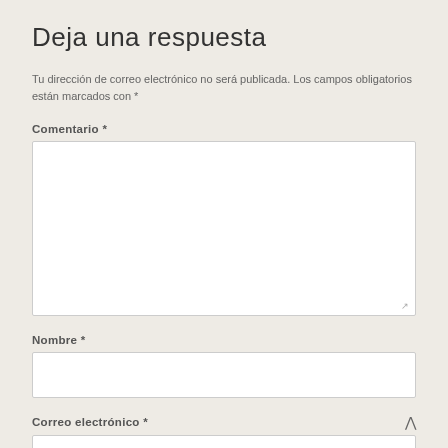Deja una respuesta
Tu dirección de correo electrónico no será publicada. Los campos obligatorios están marcados con *
Comentario *
[Figure (other): Large textarea input box for comment]
Nombre *
[Figure (other): Single-line text input box for name]
Correo electrónico *
[Figure (other): Single-line text input box for email (partially visible)]